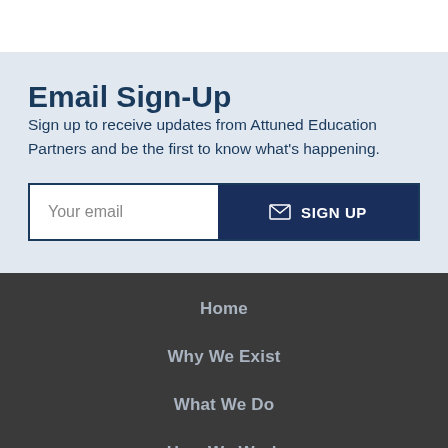Email Sign-Up
Sign up to receive updates from Attuned Education Partners and be the first to know what's happening.
Your email  SIGN UP
Home
Why We Exist
What We Do
How We Work